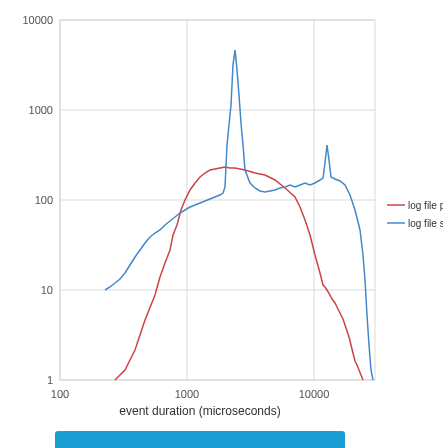[Figure (continuous-plot): Log-log plot showing event duration (microseconds) on x-axis vs count on y-axis. Two curves: red 'log file parallel write' peaks around 1000-2000 microseconds at ~700 count, then declines steeply. Blue 'log file sync' rises more slowly, peaks around 10000 microseconds at ~700 count with a sharp spike near 3000, then declines. X-axis: 100 to ~30000 microseconds. Y-axis: 1 to 10000.]
Continue reading
savvinov   log writer   Leave a comment   September 11, 2014   2 Minutes